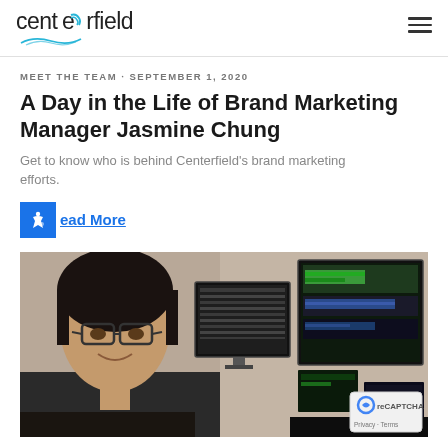centerfield
MEET THE TEAM · SEPTEMBER 1, 2020
A Day in the Life of Brand Marketing Manager Jasmine Chung
Get to know who is behind Centerfield's brand marketing efforts.
Read More
[Figure (photo): Person with glasses sitting in front of multiple computer monitors displaying audio/video editing software and data screens]